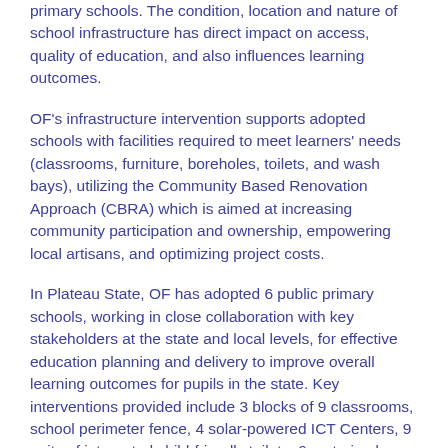primary schools. The condition, location and nature of school infrastructure has direct impact on access, quality of education, and also influences learning outcomes.
OF's infrastructure intervention supports adopted schools with facilities required to meet learners' needs (classrooms, furniture, boreholes, toilets, and wash bays), utilizing the Community Based Renovation Approach (CBRA) which is aimed at increasing community participation and ownership, empowering local artisans, and optimizing project costs.
In Plateau State, OF has adopted 6 public primary schools, working in close collaboration with key stakeholders at the state and local levels, for effective education planning and delivery to improve overall learning outcomes for pupils in the state. Key interventions provided include 3 blocks of 9 classrooms, school perimeter fence, 4 solar-powered ICT Centers, 9 units of integrated child-friendly toilets, 6 motorized boreholes kitted with power generating sets, water storage facilities and